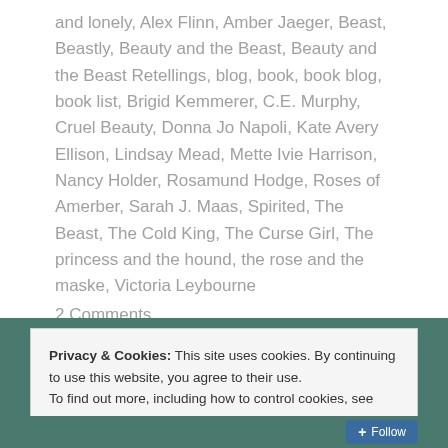and lonely, Alex Flinn, Amber Jaeger, Beast, Beastly, Beauty and the Beast, Beauty and the Beast Retellings, blog, book, book blog, book list, Brigid Kemmerer, C.E. Murphy, Cruel Beauty, Donna Jo Napoli, Kate Avery Ellison, Lindsay Mead, Mette Ivie Harrison, Nancy Holder, Rosamund Hodge, Roses of Amerber, Sarah J. Maas, Spirited, The Beast, The Cold King, The Curse Girl, The princess and the hound, the rose and the maske, Victoria Leybourne
2 Comments
Privacy & Cookies: This site uses cookies. By continuing to use this website, you agree to their use. To find out more, including how to control cookies, see here: Cookie Policy